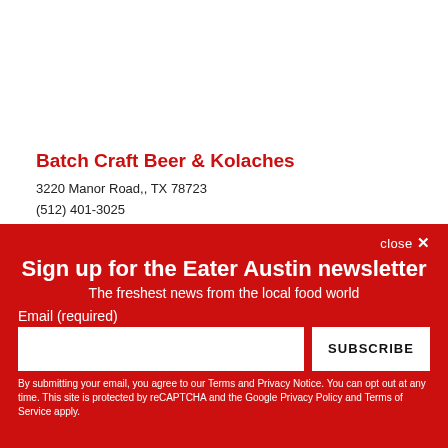Batch Craft Beer & Kolaches
3220 Manor Road,, TX 78723
(512) 401-3025
Visit Website
close ×
Sign up for the Eater Austin newsletter
The freshest news from the local food world
Email (required)
SUBSCRIBE
By submitting your email, you agree to our Terms and Privacy Notice. You can opt out at any time. This site is protected by reCAPTCHA and the Google Privacy Policy and Terms of Service apply.